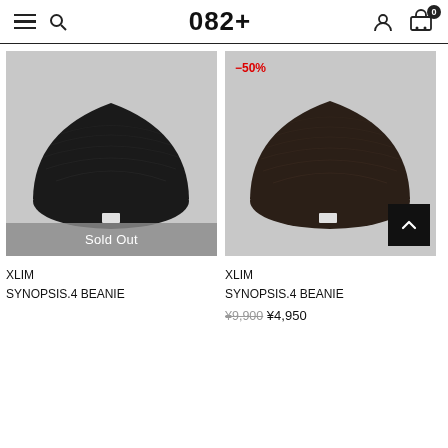082+
[Figure (photo): Black knit beanie (XLIM SYNOPSIS.4 BEANIE) on grey background, Sold Out]
[Figure (photo): Dark brown knit beanie (XLIM SYNOPSIS.4 BEANIE) on grey background, -50% discount badge, back-to-top button]
XLIM
SYNOPSIS.4 BEANIE
XLIM
SYNOPSIS.4 BEANIE
¥9,900 ¥4,950